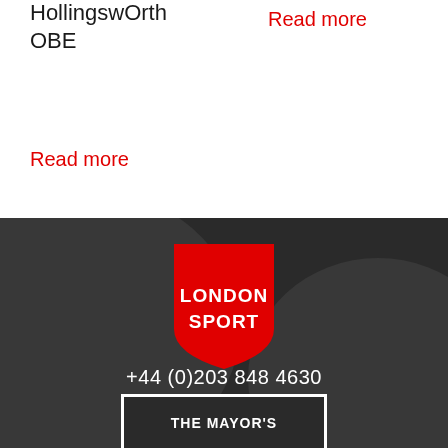HollingsworthOBE
Read more
Read more
[Figure (logo): London Sport shield-shaped logo in red with white text reading LONDON SPORT]
+44 (0)203 848 4630
info@londonsport.org
THE MAYOR'S